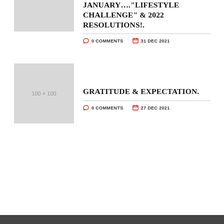[Figure (photo): Placeholder thumbnail image (cropped top, grey box)]
JANUARY…."LIFESTYLE CHALLENGE" & 2022 RESOLUTIONS!.
0 COMMENTS   31 DEC 2021
[Figure (photo): Placeholder thumbnail image 100 × 100]
GRATITUDE & EXPECTATION.
0 COMMENTS   27 DEC 2021